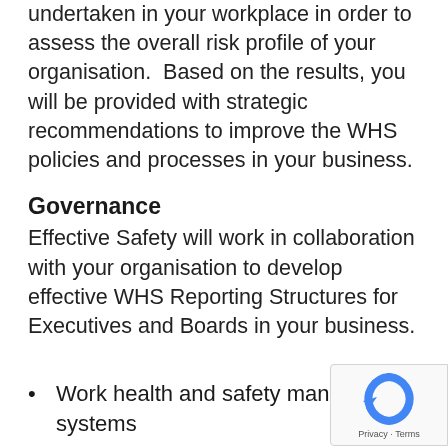undertaken in your workplace in order to assess the overall risk profile of your organisation.  Based on the results, you will be provided with strategic recommendations to improve the WHS policies and processes in your business.
Governance
Effective Safety will work in collaboration with your organisation to develop effective WHS Reporting Structures for Executives and Boards in your business.
Work health and safety management systems
System auditing